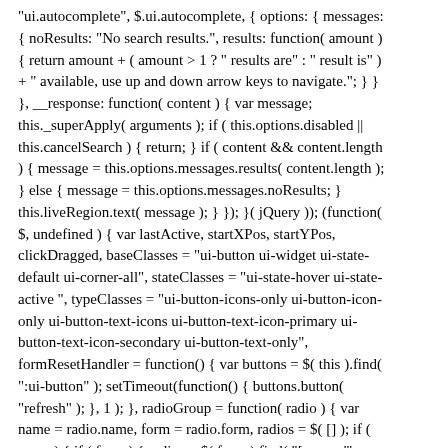"ui.autocomplete", $.ui.autocomplete, { options: { messages: { noResults: "No search results.", results: function( amount ) { return amount + ( amount > 1 ? " results are" : " result is" ) + " available, use up and down arrow keys to navigate."; } } }, __response: function( content ) { var message; this._superApply( arguments ); if ( this.options.disabled || this.cancelSearch ) { return; } if ( content && content.length ) { message = this.options.messages.results( content.length ); } else { message = this.options.messages.noResults; } this.liveRegion.text( message ); } }); }( jQuery )); (function( $, undefined ) { var lastActive, startXPos, startYPos, clickDragged, baseClasses = "ui-button ui-widget ui-state-default ui-corner-all", stateClasses = "ui-state-hover ui-state-active ", typeClasses = "ui-button-icons-only ui-button-icon-only ui-button-text-icons ui-button-text-icon-primary ui-button-text-icon-secondary ui-button-text-only", formResetHandler = function() { var buttons = $( this ).find( ":ui-button" ); setTimeout(function() { buttons.button( "refresh" ); }, 1 ); }, radioGroup = function( radio ) { var name = radio.name, form = radio.form, radios = $( [] ); if ( name ) { if ( form ) { radios = $( form ).find( "[name='" + name + "']" ); } else { radios = $( "[name='" + name + "']", radio.ownerDocument ) .filter(function() { return !this.form; }); } } return radios; }; $.widget( "ui.button", { version: "1.9.2", defaultElement: "